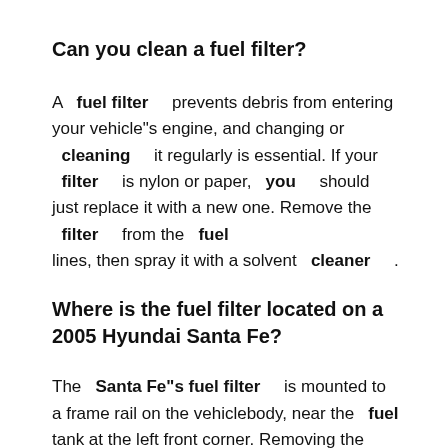Can you clean a fuel filter?
A fuel filter prevents debris from entering your vehicle"s engine, and changing or cleaning it regularly is essential. If your filter is nylon or paper, you should just replace it with a new one. Remove the filter from the fuel lines, then spray it with a solvent cleaner .
Where is the fuel filter located on a 2005 Hyundai Santa Fe?
The Santa Fe"s fuel filter is mounted to a frame rail on the vehiclebody, near the fuel tank at the left front corner. Removing the fuel tank itself is a very simple process, but proceed with caution, as you are dealing with a fuel system